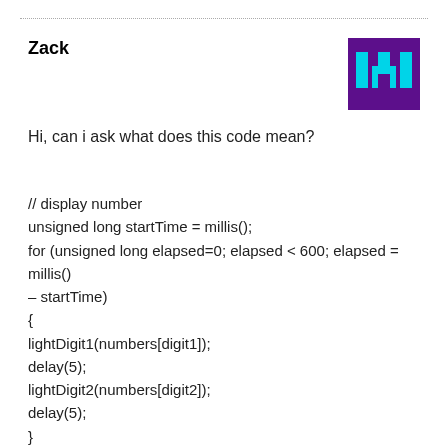Zack
[Figure (logo): Purple square logo with cyan castle/pixel art icon]
Hi, can i ask what does this code mean?
// display number
unsigned long startTime = millis();
for (unsigned long elapsed=0; elapsed < 600; elapsed = millis() – startTime)
{
lightDigit1(numbers[digit1]);
delay(5);
lightDigit2(numbers[digit2]);
delay(5);
}